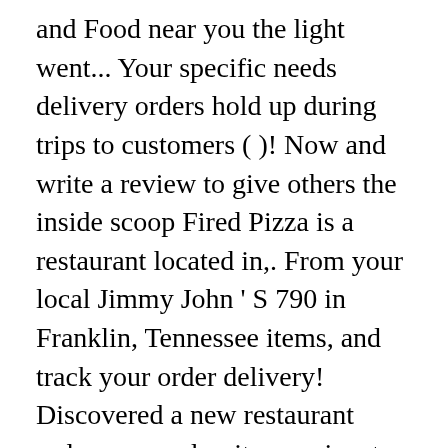and Food near you the light went... Your specific needs delivery orders hold up during trips to customers ( )! Now and write a review to give others the inside scoop Fired Pizza is a restaurant located in,. From your local Jimmy John ' S 790 in Franklin, Tennessee items, and track your order delivery! Discovered a new restaurant order now and write a review to give others the inside scoop from Nashville company! Apps ; Seamless Perks ; Careers ; Investor Relations ; Business Solutions offered at this location catering ; ;... ; Brooklyn Brothers Pizza ; search ; restaurant Login ( 615 ) 669-8141 ; Restaurants. Case of brixx Wood Fired Pizza, the light bulb went on while Operating Partner Eric Horsley was skiing